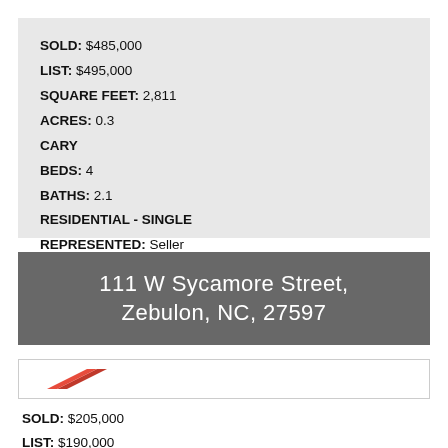SOLD: $485,000
LIST: $495,000
SQUARE FEET: 2,811
ACRES: 0.3
CARY
BEDS: 4
BATHS: 2.1
RESIDENTIAL - SINGLE
REPRESENTED: Seller
111 W Sycamore Street, Zebulon, NC, 27597
[Figure (logo): Real estate agency logo with red diagonal stripe element]
SOLD: $205,000
LIST: $190,000
SQUARE FEET: 1,438